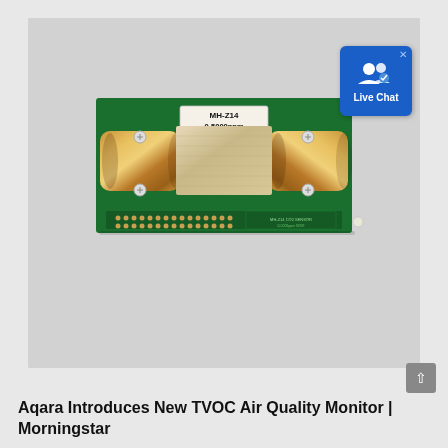[Figure (photo): Photograph of a MH-Z14 0-5000ppm CO2 sensor PCB module. The green circuit board features two gold-colored cylindrical sensor tubes on either side with a white/beige filter material in the center. A white label reads 'MH-Z14 / 0-5000ppm'. The board has pin headers at the bottom. A 'Live Chat' button overlay appears in the top-right corner of the image.]
Aqara Introduces New TVOC Air Quality Monitor | Morningstar